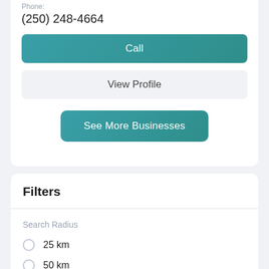Phone:
(250) 248-4664
Call
View Profile
See More Businesses
Filters
Search Radius
25 km
50 km